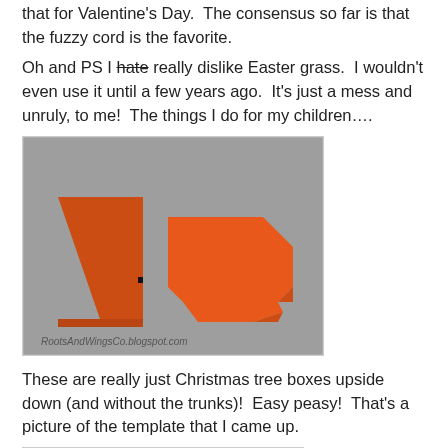that for Valentine's Day.  The consensus so far is that the fuzzy cord is the favorite.
Oh and PS I hate really dislike Easter grass.  I wouldn't even use it until a few years ago.  It's just a mess and unruly, to me!  The things I do for my children….
[Figure (photo): Orange paper folded into two shapes on a grey surface — a triangular folded box on the left and a flat carrot-shaped template cutout on the right. Watermark reads RootsAndWingsCo.blogspot.com]
These are really just Christmas tree boxes upside down (and without the trunks)!  Easy peasy!  That's a picture of the template that I came up.
[Figure (photo): Close-up photo of green grass or plant stems on a tan/grey surface]